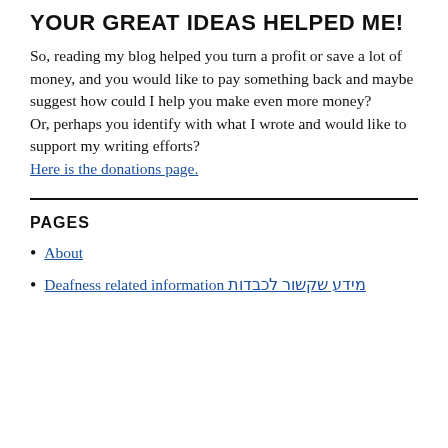YOUR GREAT IDEAS HELPED ME!
So, reading my blog helped you turn a profit or save a lot of money, and you would like to pay something back and maybe suggest how could I help you make even more money?
Or, perhaps you identify with what I wrote and would like to support my writing efforts?
Here is the donations page.
PAGES
About
Deafness related information מידע שקשור לכבדות